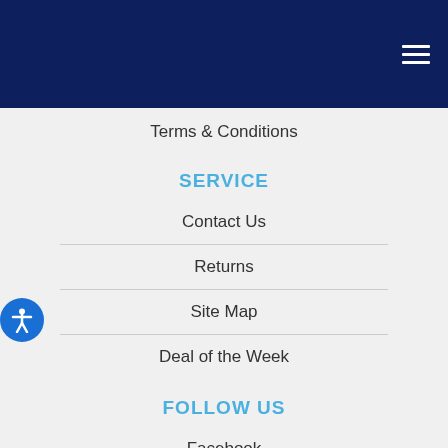Navigation menu header bar with hamburger icon
Terms & Conditions
SERVICE
Contact Us
Returns
Site Map
Deal of the Week
FOLLOW US
Facebook
Twitter
LinkedIn
CONTACT US